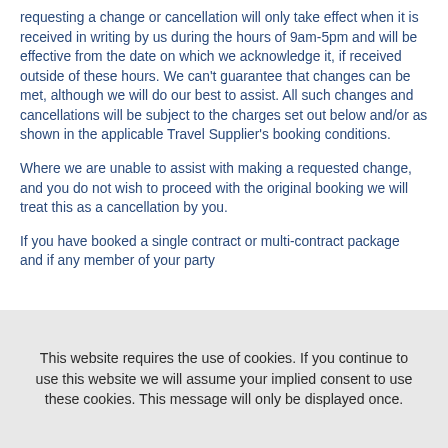requesting a change or cancellation will only take effect when it is received in writing by us during the hours of 9am-5pm and will be effective from the date on which we acknowledge it, if received outside of these hours. We can't guarantee that changes can be met, although we will do our best to assist. All such changes and cancellations will be subject to the charges set out below and/or as shown in the applicable Travel Supplier's booking conditions.
Where we are unable to assist with making a requested change, and you do not wish to proceed with the original booking we will treat this as a cancellation by you.
If you have booked a single contract or multi-contract package  and if any member of your party
This website requires the use of cookies. If you continue to use this website we will assume your implied consent to use these cookies. This message will only be displayed once.